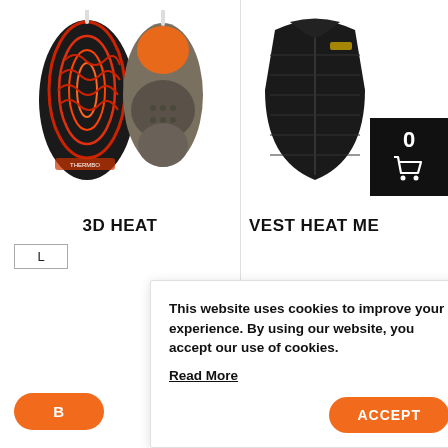[Figure (photo): Two heated insoles with cables — one showing red patterned top surface, one showing grey/orange underside]
3D HEAT
[Figure (photo): Black quilted heated vest, partially visible on right side, with shopping cart badge showing 0]
VEST HEAT ME
L
This website uses cookies to improve your experience. By using our website, you accept our use of cookies.
Read More
ACCEPT